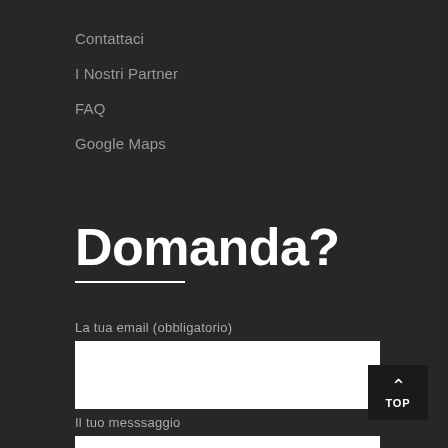Contattaci
I Nostri Partner
FAQ
Google Maps
Domanda?
La tua email (obbligatorio)
Il tuo messsaggio